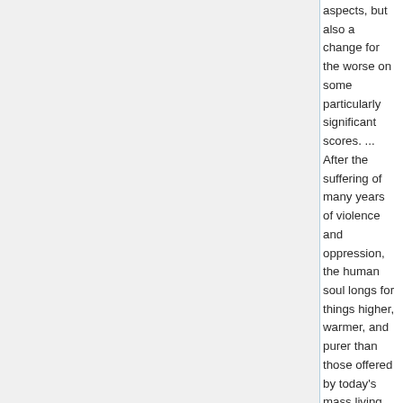aspects, but also a change for the worse on some particularly significant scores. ... After the suffering of many years of violence and oppression, the human soul longs for things higher, warmer, and purer than those offered by today's mass living habits, introduced by the revolting invasion of publicity, by TV stupor, and by intolerable music.

There are meaningful warnings which history gives a threatened or perishing society. Such are, for